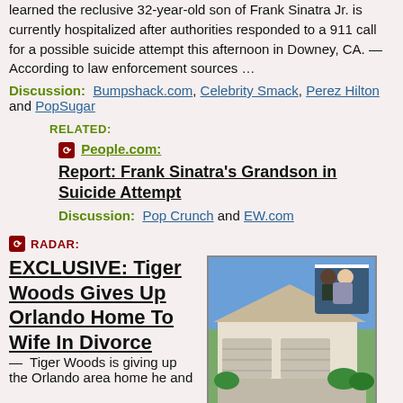learned the reclusive 32-year-old son of Frank Sinatra Jr. is currently hospitalized after authorities responded to a 911 call for a possible suicide attempt this afternoon in Downey, CA. — According to law enforcement sources …
Discussion: Bumpshack.com, Celebrity Smack, Perez Hilton and PopSugar
RELATED:
People.com:
Report: Frank Sinatra's Grandson in Suicide Attempt
Discussion: Pop Crunch and EW.com
RADAR:
EXCLUSIVE: Tiger Woods Gives Up Orlando Home To Wife In Divorce — Tiger Woods is giving up the Orlando area home he and
[Figure (photo): Photo of a house with driveway and greenery, with an inset photo of two people (a man in a dark suit and a woman)]